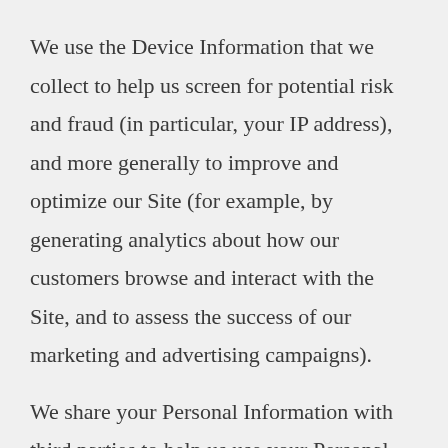We use the Device Information that we collect to help us screen for potential risk and fraud (in particular, your IP address), and more generally to improve and optimize our Site (for example, by generating analytics about how our customers browse and interact with the Site, and to assess the success of our marketing and advertising campaigns).
We share your Personal Information with third parties to help us use your Personal Information, as described above. For example, we use Google Analytics to help us